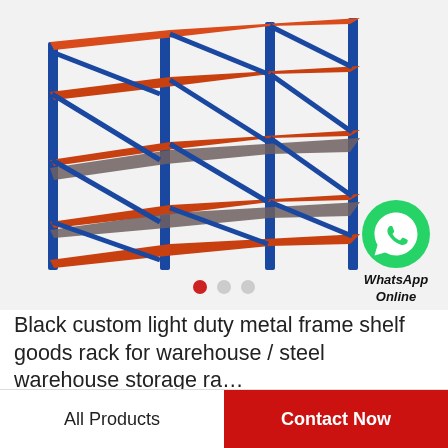[Figure (photo): A metal warehouse storage rack/shelf with blue vertical frames and orange horizontal beams, 4 tiers, shown in perspective view on a white background. A WhatsApp Online badge is overlaid in the bottom-right of the image area.]
Black custom light duty metal frame shelf goods rack for warehouse / steel warehouse storage ra…
All Products
Contact Now